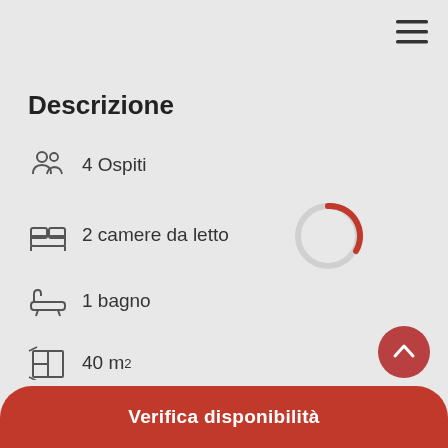[Figure (other): Hamburger menu icon (three horizontal lines) in top right corner]
Descrizione
4 Ospiti
2 camere da letto
1 bagno
40 m²
1° piano
[Figure (other): Loading spinner: circular ring mostly light gray with a red arc segment in upper right, indicating loading state]
[Figure (other): Scroll-to-top circular button with upward chevron, dark red background]
Verifica disponibilità